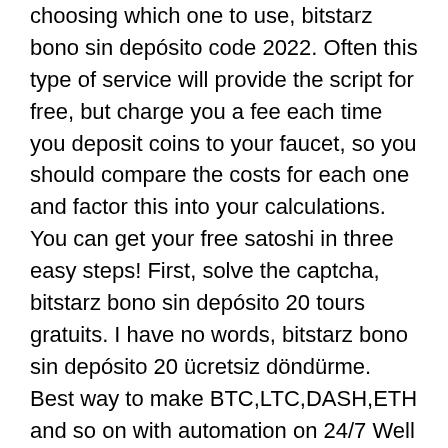choosing which one to use, bitstarz bono sin depósito code 2022. Often this type of service will provide the script for free, but charge you a fee each time you deposit coins to your faucet, so you should compare the costs for each one and factor this into your calculations. You can get your free satoshi in three easy steps! First, solve the captcha, bitstarz bono sin depósito 20 tours gratuits. I have no words, bitstarz bono sin depósito 20 ücretsiz döndürme. Best way to make BTC,LTC,DASH,ETH and so on with automation on 24/7 Well done guys GOD BLESS. Visit Websites and earn bitcoin, bitstarz bono sin depósito 20 tiradas gratis. Pro - Likecoin is a digital currency - based on Blockchain technology, that give you reward amount for any "Like" that you do on "YouTube" videos, also you can get some activity "Token" when you are login every day - this is the future, do not miss it. By the end of this article, I will be giving a bitcoin faucet